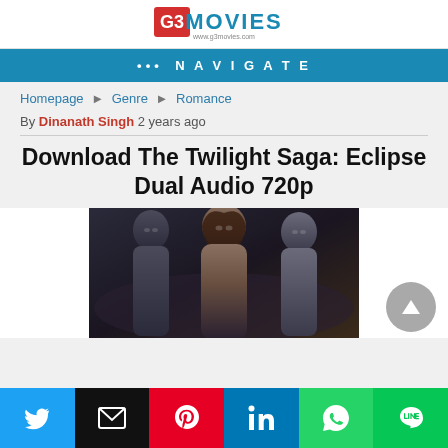G3MOVIES www.g3movies.com
••• NAVIGATE
Homepage ► Genre ► Romance
By Dinanath Singh 2 years ago
Download The Twilight Saga: Eclipse Dual Audio 720p
[Figure (photo): Movie poster showing three characters from The Twilight Saga: Eclipse - two male figures flanking a central female figure against a dark moody background]
Twitter | Email | Pinterest | LinkedIn | WhatsApp | LINE social share buttons